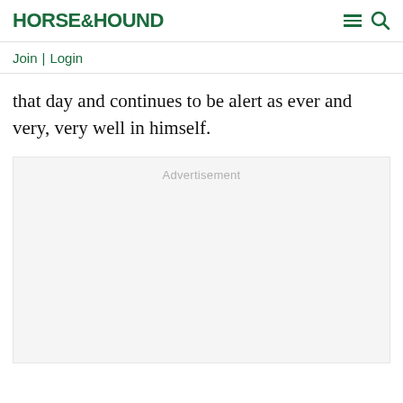HORSE&HOUND
Join | Login
that day and continues to be alert as ever and very, very well in himself.
[Figure (other): Advertisement placeholder box with light grey background and 'Advertisement' label text]